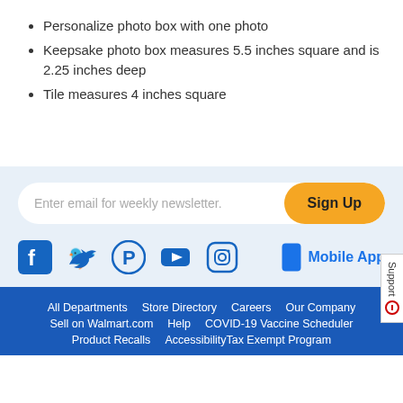Personalize photo box with one photo
Keepsake photo box measures 5.5 inches square and is 2.25 inches deep
Tile measures 4 inches square
Enter email for weekly newsletter.
Sign Up
Mobile App
Support
All Departments   Store Directory   Careers   Our Company   Sell on Walmart.com   Help   COVID-19 Vaccine Scheduler   Product Recalls   AccessibilityTax Exempt Program